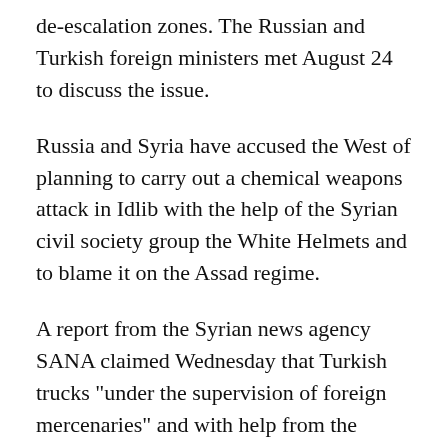de-escalation zones. The Russian and Turkish foreign ministers met August 24 to discuss the issue.
Russia and Syria have accused the West of planning to carry out a chemical weapons attack in Idlib with the help of the Syrian civil society group the White Helmets and to blame it on the Assad regime.
A report from the Syrian news agency SANA claimed Wednesday that Turkish trucks "under the supervision of foreign mercenaries" and with help from the White Helmets were transporting gas cylinders into Idlib. The report said, "About 20 people with dark brown skin who speak French and English" took part in the operation.
The United States has warned that it will hold the Assad government and Russia accountable for any